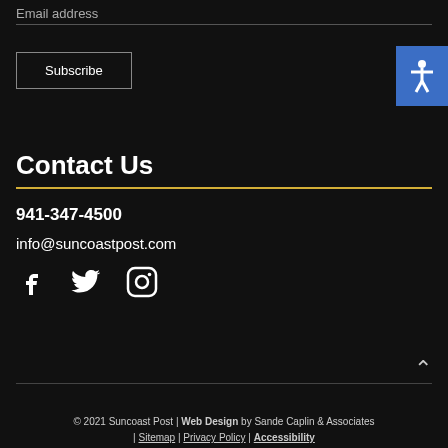Email address
Subscribe
Contact Us
941-347-4500
info@suncoastpost.com
[Figure (illustration): Social media icons: Facebook, Twitter, Instagram]
© 2021 Suncoast Post | Web Design by Sande Caplin & Associates | Sitemap | Privacy Policy | Accessibility